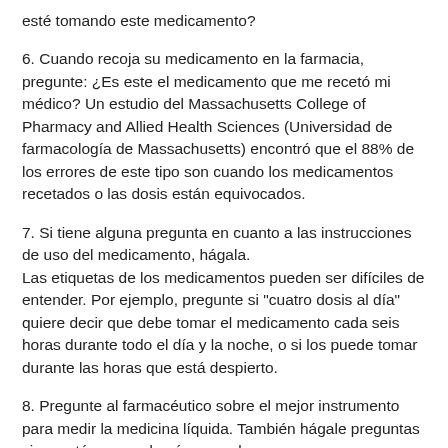esté tomando este medicamento?
6. Cuando recoja su medicamento en la farmacia, pregunte: ¿Es este el medicamento que me recetó mi médico? Un estudio del Massachusetts College of Pharmacy and Allied Health Sciences (Universidad de farmacología de Massachusetts) encontró que el 88% de los errores de este tipo son cuando los medicamentos recetados o las dosis están equivocados.
7. Si tiene alguna pregunta en cuanto a las instrucciones de uso del medicamento, hágala. Las etiquetas de los medicamentos pueden ser difíciles de entender. Por ejemplo, pregunte si "cuatro dosis al día" quiere decir que debe tomar el medicamento cada seis horas durante todo el día y la noche, o si los puede tomar durante las horas que está despierto.
8. Pregunte al farmacéutico sobre el mejor instrumento para medir la medicina líquida. También hágale preguntas si no está seguro de cómo usarlo. La investigación muestra que muchas personas no